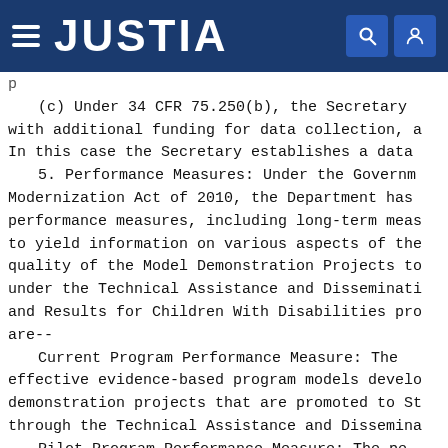JUSTIA
(c) Under 34 CFR 75.250(b), the Secretary with additional funding for data collection, a In this case the Secretary establishes a data
5. Performance Measures: Under the Governm Modernization Act of 2010, the Department has performance measures, including long-term meas to yield information on various aspects of the quality of the Model Demonstration Projects to under the Technical Assistance and Disseminati and Results for Children With Disabilities pro are--
Current Program Performance Measure: The effective evidence-based program models develo demonstration projects that are promoted to St through the Technical Assistance and Dissemina
Pilot Program Performance Measure: The pe effective program models developed through the